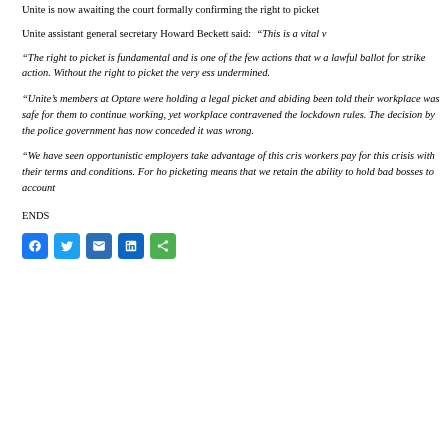Unite is now awaiting the court formally confirming the right to picket
Unite assistant general secretary Howard Beckett said: “This is a vital v
“The right to picket is fundamental and is one of the few actions that w a lawful ballot for strike action. Without the right to picket the very ess undermined.
“Unite’s members at Optare were holding a legal picket and abiding been told their workplace was safe for them to continue working, yet workplace contravened the lockdown rules. The decision by the police government has now conceded it was wrong.
“We have seen opportunistic employers take advantage of this cris workers pay for this crisis with their terms and conditions. For ho picketing means that we retain the ability to hold bad bosses to account
ENDS
[Figure (other): Social media share buttons: Facebook, Twitter, Email, LinkedIn, Share]